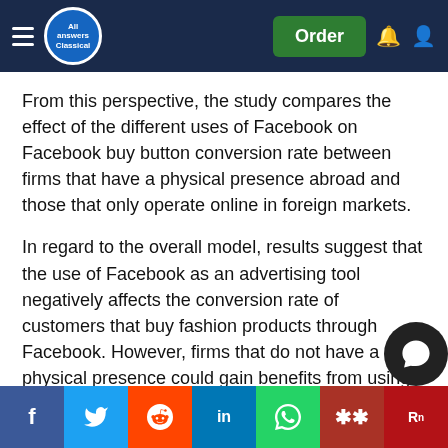All Answers Classical — navigation bar with Order button
From this perspective, the study compares the effect of the different uses of Facebook on Facebook buy button conversion rate between firms that have a physical presence abroad and those that only operate online in foreign markets.
In regard to the overall model, results suggest that the use of Facebook as an advertising tool negatively affects the conversion rate of customers that buy fashion products through Facebook. However, firms that do not have a physical presence could gain benefits from using Facebook for retrieving data that, in turn, feed the firm social CRM. This latter result could be explained by the fact that firms selling abroad using only online channels can establish virtual relationships exclusively, and, consequently, could build their customer base and their firm image and build the reputation of being with customers, and to satisfy firm
[Figure (screenshot): Social sharing bar with Facebook, Twitter, Reddit, LinkedIn, WhatsApp, Mendeley, and ResearchGate buttons at the bottom of the page]